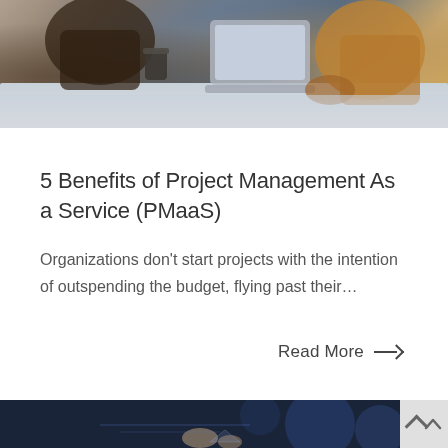[Figure (photo): People working at a table with laptops, overhead view showing hands and devices on a light-colored table surface]
5 Benefits of Project Management As a Service (PMaaS)
Organizations don't start projects with the intention of outspending the budget, flying past their…
Read More →
[Figure (photo): Dark blue-toned image showing hands touching or using a glowing digital interface or screen]